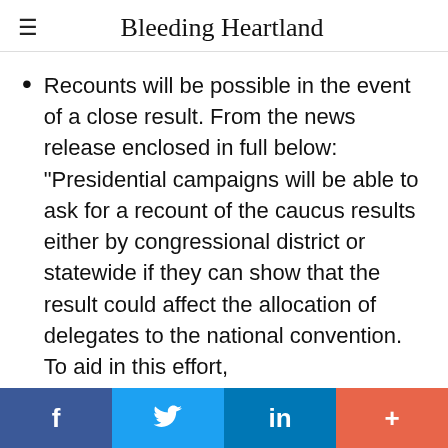Bleeding Heartland
Recounts will be possible in the event of a close result. From the news release enclosed in full below: "Presidential campaigns will be able to ask for a recount of the caucus results either by congressional district or statewide if they can show that the result could affect the allocation of delegates to the national convention. To aid in this effort, presidential preference cards will be used
f  [Twitter bird]  in  +